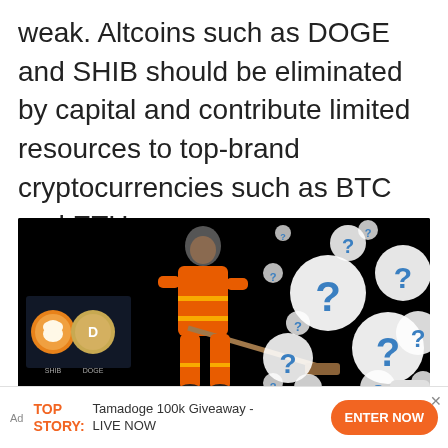weak. Altcoins such as DOGE and SHIB should be eliminated by capital and contribute limited resources to top-brand cryptocurrencies such as BTC and ETH.
[Figure (photo): A person in an orange high-visibility suit sweeping with a broom, with cryptocurrency coin logos (SHIB, DOGE) visible on the left, and many white and blue question mark bubbles floating on the right, against a black background.]
If capital can give up BTC
Ad TOP STORY: Tamadoge 100k Giveaway - LIVE NOW ENTER NOW